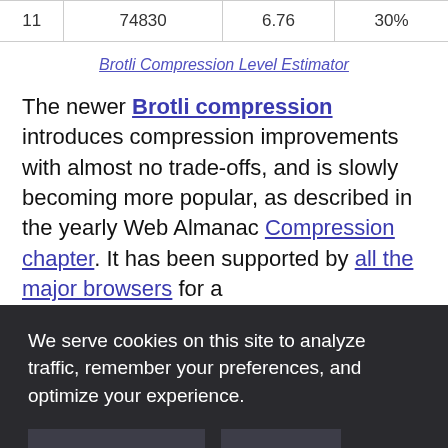| 11 | 74830 | 6.76 | 30% |
Brotli Compression Level Estimator
The newer Brotli compression introduces compression improvements with almost no trade-offs, and is slowly becoming more popular, as described in the yearly Web Almanac Compression chapter. It has been supported by all the major browsers for a
We serve cookies on this site to analyze traffic, remember your preferences, and optimize your experience.
MORE DETAILS
OK